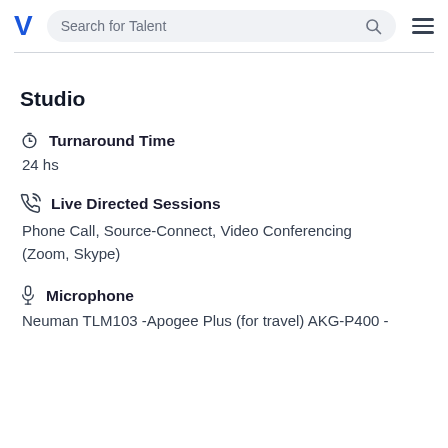Search for Talent
Studio
Turnaround Time
24 hs
Live Directed Sessions
Phone Call, Source-Connect, Video Conferencing (Zoom, Skype)
Microphone
Neuman TLM103 -Apogee Plus (for travel) AKG-P400 -